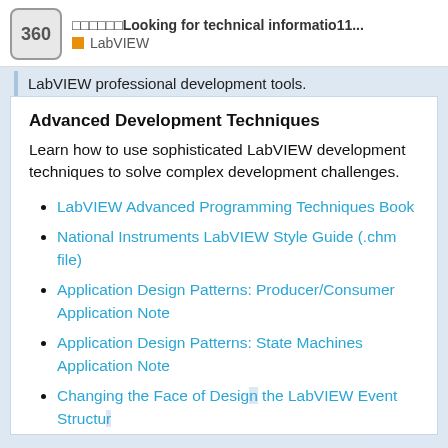360 □□□□□□Looking for technical informatio11... LabVIEW
LabVIEW professional development tools.
Advanced Development Techniques
Learn how to use sophisticated LabVIEW development techniques to solve complex development challenges.
LabVIEW Advanced Programming Techniques Book
National Instruments LabVIEW Style Guide (.chm file)
Application Design Patterns: Producer/Consumer Application Note
Application Design Patterns: State Machines Application Note
Changing the Face of Design the LabVIEW Event Structure
1 / 1